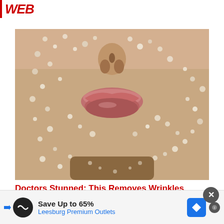WEB
[Figure (photo): Close-up photo of a person's face (lower half) covered in sugar or salt crystals, with prominent lips visible]
Doctors Stunned: This Removes Wrinkles Like Crazy (Try Tonight)
Save Up to 65%
Leesburg Premium Outlets